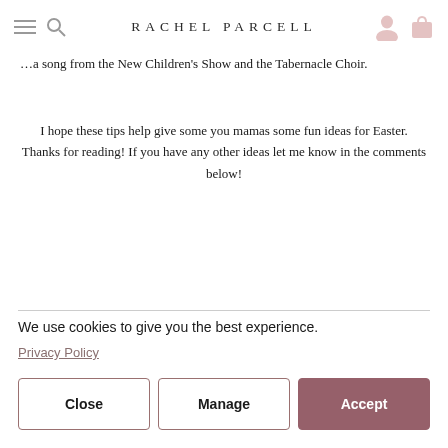RACHEL PARCELL
…a song from the New Children's Show and the Tabernacle Choir.
I hope these tips help give some you mamas some fun ideas for Easter. Thanks for reading! If you have any other ideas let me know in the comments below!
We use cookies to give you the best experience.
Privacy Policy
Close
Manage
Accept